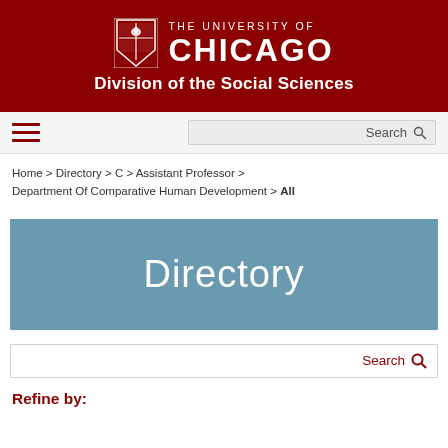[Figure (logo): University of Chicago shield logo with text 'THE UNIVERSITY OF CHICAGO Division of the Social Sciences' on dark red background]
Home > Directory > C > Assistant Professor > Department Of Comparative Human Development > All
Directory
Search
Refine by: